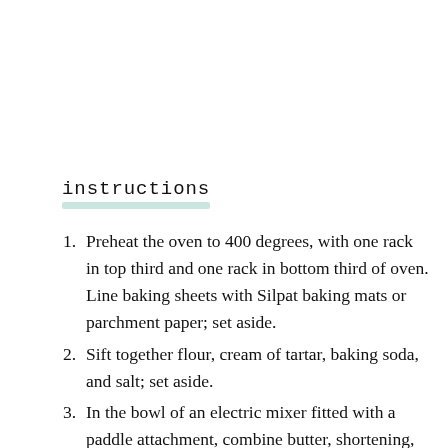instructions
Preheat the oven to 400 degrees, with one rack in top third and one rack in bottom third of oven. Line baking sheets with Silpat baking mats or parchment paper; set aside.
Sift together flour, cream of tartar, baking soda, and salt; set aside.
In the bowl of an electric mixer fitted with a paddle attachment, combine butter, shortening, and 1½